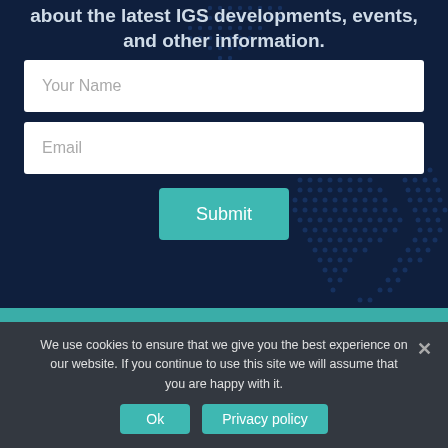about the latest IGS developments, events, and other information.
[Figure (illustration): Dotted map background on dark navy blue]
Your Name
Email
Submit
We use cookies to ensure that we give you the best experience on our website. If you continue to use this site we will assume that you are happy with it.
Ok
Privacy policy